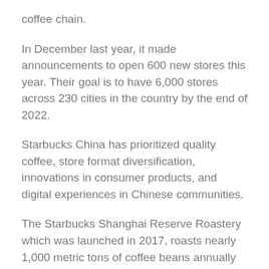coffee chain.
In December last year, it made announcements to open 600 new stores this year.  Their goal is to have 6,000 stores across 230 cities in the country by the end of 2022.
Starbucks China has prioritized quality coffee, store format diversification, innovations in consumer products, and digital experiences in Chinese communities.
The Starbucks Shanghai Reserve Roastery which was launched in 2017, roasts nearly 1,000 metric tons of coffee beans annually at its 2,700-square-meter store.
They currently have more than 400 Starbucks Reserve Coffee Stores and more than 50 Starbucks Now stores